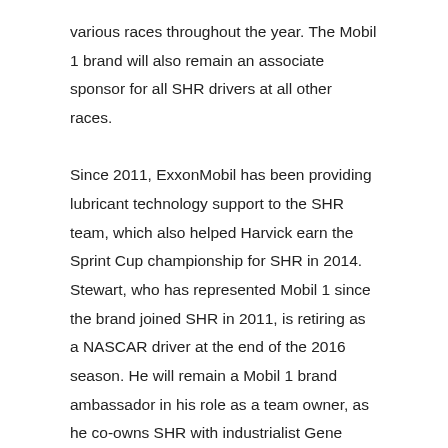various races throughout the year. The Mobil 1 brand will also remain an associate sponsor for all SHR drivers at all other races.

Since 2011, ExxonMobil has been providing lubricant technology support to the SHR team, which also helped Harvick earn the Sprint Cup championship for SHR in 2014. Stewart, who has represented Mobil 1 since the brand joined SHR in 2011, is retiring as a NASCAR driver at the end of the 2016 season. He will remain a Mobil 1 brand ambassador in his role as a team owner, as he co-owns SHR with industrialist Gene Haas, founder of Haas Automation. Additionally, the Mobil 1 brand will be an associate sponsor of SHR's new NASCAR XFINITY Series team for the 2017 season, where driver Cole Custer will run for rookie of the year.

Stewart has only Sunday's Can-Am 500k at Phoenix race and the